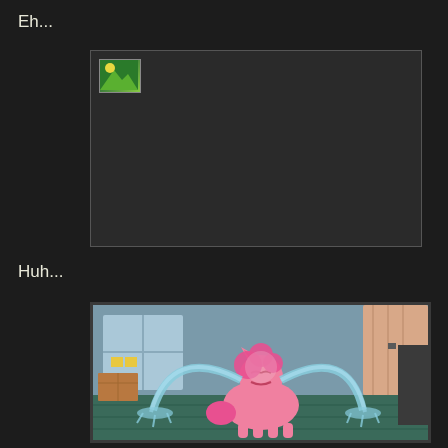Eh...
[Figure (screenshot): A dark/black video frame with a broken image icon in the top-left corner, showing a failed image load state with a small green/landscape thumbnail placeholder]
Huh...
[Figure (illustration): Animated illustration of a pink pony (Pinkie Pie from My Little Pony) crying with large arcing streams of tears, sitting on a green floor in what appears to be a room with windows and boxes]